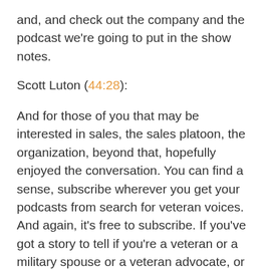and, and check out the company and the podcast we're going to put in the show notes.
Scott Luton (44:28):
And for those of you that may be interested in sales, the sales platoon, the organization, beyond that, hopefully enjoyed the conversation. You can find a sense, subscribe wherever you get your podcasts from search for veteran voices. And again, it's free to subscribe. If you've got a story to tell if you're a veteran or a military spouse or a veteran advocate, or maybe you lead a, a non-profit that helps veterans